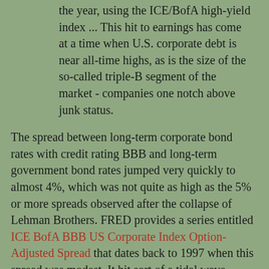the year, using the ICE/BofA high-yield index ... This hit to earnings has come at a time when U.S. corporate debt is near all-time highs, as is the size of the so-called triple-B segment of the market - companies one notch above junk status.
The spread between long-term corporate bond rates with credit rating BBB and long-term government bond rates jumped very quickly to almost 4%, which was not quite as high as the 5% or more spreads observed after the collapse of Lehman Brothers. FRED provides a series entitled ICE BofA BBB US Corporate Index Option-Adjusted Spread that dates back to 1997 when this spread was modest. It hit sort of a tidal wave during the turn of the millennium with the collapse of the internet/computer/telecommunication boom and a host of notorious bankruptcies. What happened after the collapse of Lehman Brothers was a tsunami. I did find some Thomson Reuters discussion entitled the implications of the credit crunch for intercompany loans, which talked about market interest rates as of February 2009:
Spreads for even AAA-rated long-term corporate debt, however, have recently been higher than